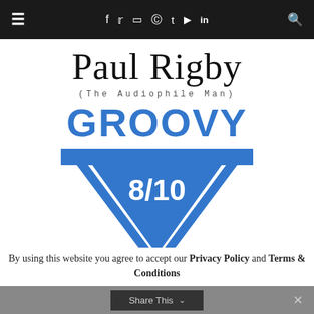≡  f  𝕥  📷   pinterest  t  ▶  in  🔍
Paul Rigby
(The Audiophile Man)
[Figure (illustration): Groovy badge: downward-pointing triangle in blue with the word GROOVY in large blue bold letters at top and 8/10 in white text inside the triangle. Blue horizontal bars flank the score.]
By using this website you agree to accept our Privacy Policy and Terms & Conditions
Share This  ∨  ×